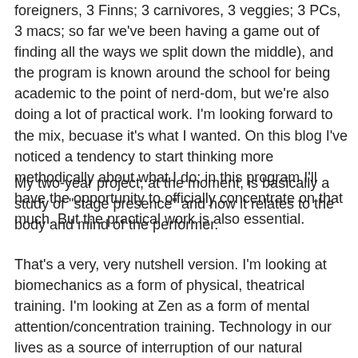foreigners, 3 Finns; 3 carnivores, 3 veggies; 3 PCs, 3 macs; so far we've been having a game out of finding all the ways we split down the middle), and the program is known around the school for being academic to the point of nerd-dom, but we're also doing a lot of practical work. I'm looking forward to the mix, becuase it's what I wanted. On this blog I've noticed a tendency to start thinking more methodically about what I do; in this program I'll have the opportunity to officially concentrate on that much. But the practical work is also essential.
My two-year project, at the moment, is basically a study of "stage presence" and how it relates to the body and mind of the performer.
That's a very, very nutshell version. I'm looking at biomechanics as a form of physical, theatrical training. I'm looking at Zen as a form of mental attention/concentration training. Technology in our lives as a source of interruption of our natural moment-to-moment presence. The audience as a source of presence itself, and how that might interact with the peformer. Presence as a trainable skill. The concept of